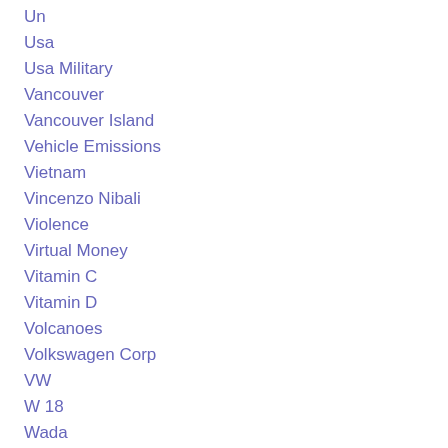Un
Usa
Usa Military
Vancouver
Vancouver Island
Vehicle Emissions
Vietnam
Vincenzo Nibali
Violence
Virtual Money
Vitamin C
Vitamin D
Volcanoes
Volkswagen Corp
VW
W 18
Wada